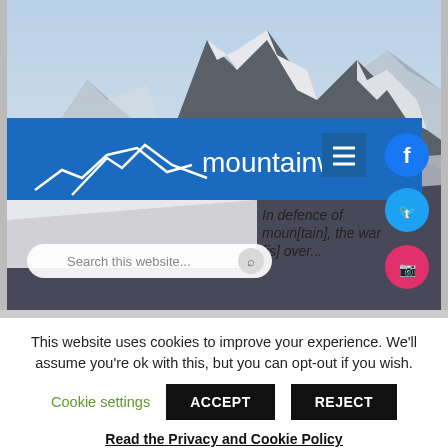[Figure (screenshot): Screenshot of mountainwil website showing snowy mountain background, blue header bar with mountainwil logo and white mountain line art, hamburger menu button, Facebook, Twitter, and Instagram social icons, a partially visible article headline 'In defence of [moun]tain, the war [is] over', and a search bar reading 'Search this website...']
This website uses cookies to improve your experience. We'll assume you're ok with this, but you can opt-out if you wish.
Cookie settings
ACCEPT
REJECT
Read the Privacy and Cookie Policy